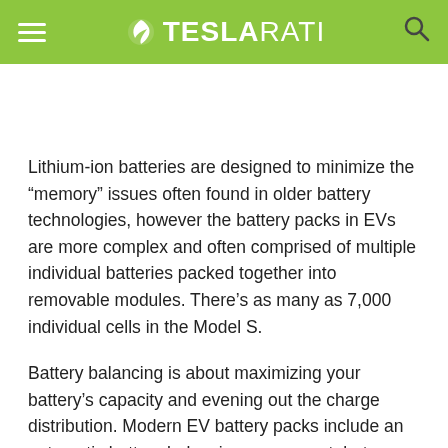TESLARATI
Lithium-ion batteries are designed to minimize the “memory” issues often found in older battery technologies, however the battery packs in EVs are more complex and often comprised of multiple individual batteries packed together into removable modules. There’s as many as 7,000 individual cells in the Model S.
Battery balancing is about maximizing your battery’s capacity and evening out the charge distribution. Modern EV battery packs include an automatic battery balancing component, but there’s steps that you can take to help the